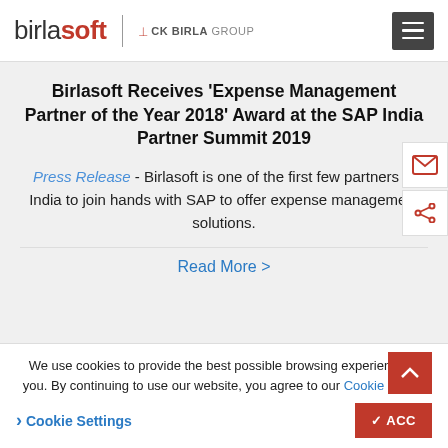birlasoft | CK BIRLA GROUP
Birlasoft Receives 'Expense Management Partner of the Year 2018' Award at the SAP India Partner Summit 2019
Press Release - Birlasoft is one of the first few partners in India to join hands with SAP to offer expense management solutions.
Read More >
We use cookies to provide the best possible browsing experience to you. By continuing to use our website, you agree to our Cookie Policy.
> Cookie Settings